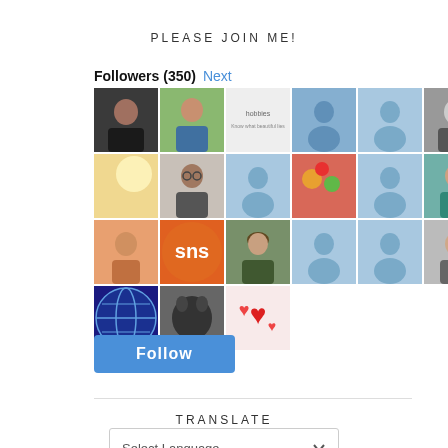PLEASE JOIN ME!
Followers (350) Next
[Figure (other): Grid of 25 follower avatar photos and placeholder silhouettes arranged in 4 rows of 6 and one partial row of 3]
[Figure (other): Follow button – blue rounded rectangle with white bold 'Follow' text]
TRANSLATE
[Figure (other): Select Language dropdown widget]
Powered by Google Translate